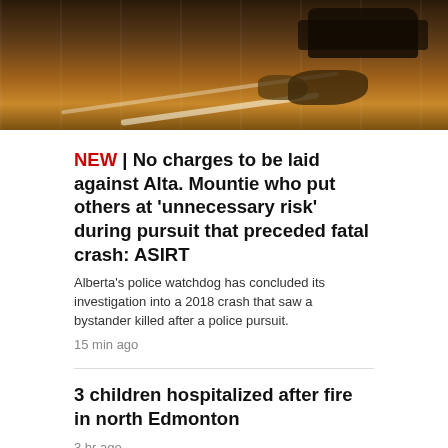[Figure (photo): Night-time photo of a road crash scene with debris visible on a dark road with road markings]
NEW | No charges to be laid against Alta. Mountie who put others at 'unnecessary risk' during pursuit that preceded fatal crash: ASIRT
Alberta's police watchdog has concluded its investigation into a 2018 crash that saw a bystander killed after a police pursuit.
15 min ago
3 children hospitalized after fire in north Edmonton
3 hr ago
More cracks found along Valley Line LRT: TransEd